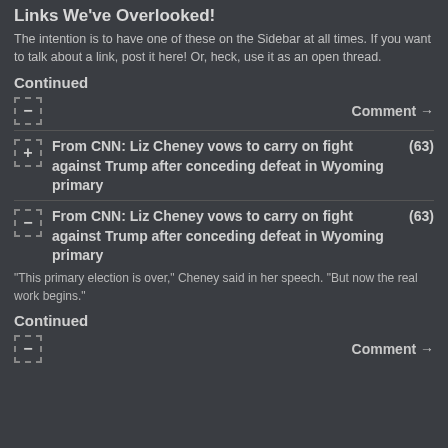Links We've Overlooked!
The intention is to have one of these on the Sidebar at all times. If you want to talk about a link, post it here! Or, heck, use it as an open thread.
Continued
Comment →
From CNN: Liz Cheney vows to carry on fight against Trump after conceding defeat in Wyoming primary (63)
From CNN: Liz Cheney vows to carry on fight against Trump after conceding defeat in Wyoming primary (63)
"This primary election is over," Cheney said in her speech. "But now the real work begins."
Continued
Comment →